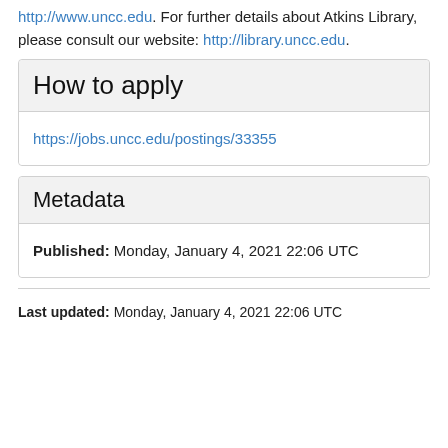http://www.uncc.edu. For further details about Atkins Library, please consult our website: http://library.uncc.edu.
How to apply
https://jobs.uncc.edu/postings/33355
Metadata
Published: Monday, January 4, 2021 22:06 UTC
Last updated: Monday, January 4, 2021 22:06 UTC